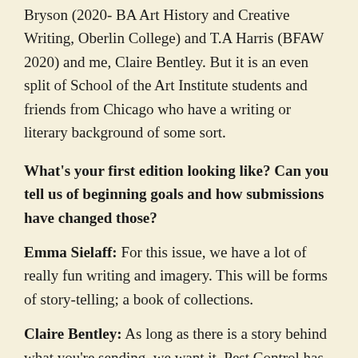Bryson (2020- BA Art History and Creative Writing, Oberlin College) and T.A Harris (BFAW 2020) and me, Claire Bentley. But it is an even split of School of the Art Institute students and friends from Chicago who have a writing or literary background of some sort.
What's your first edition looking like? Can you tell us of beginning goals and how submissions have changed those?
Emma Sielaff: For this issue, we have a lot of really fun writing and imagery. This will be forms of story-telling; a book of collections.
Claire Bentley: As long as there is a story behind what you're sending, we want it. Pest Control has honed in on a maximalist view: We don't want it to be a thing of white space and images. I want our magazine to be this